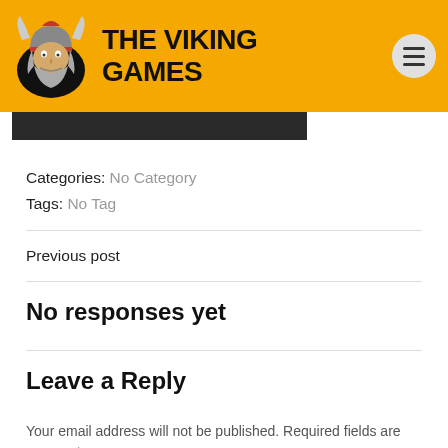THE VIKING GAMES
Categories:  No Category
Tags:  No Tag
Previous post
No responses yet
Leave a Reply
Your email address will not be published. Required fields are marked *